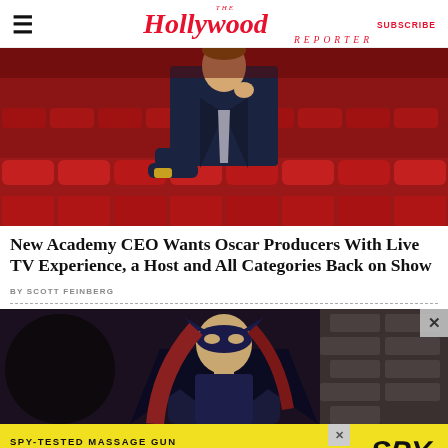The Hollywood Reporter | SUBSCRIBE
[Figure (photo): Man in a dark suit and tie sitting in red theater seats, posing thoughtfully with hand near chin]
New Academy CEO Wants Oscar Producers With Live TV Experience, a Host and All Categories Back on Show
BY SCOTT FEINBERG
[Figure (photo): Person in Batgirl superhero costume with blue mask in a dark stone setting]
[Figure (infographic): Advertisement banner: SPY-TESTED MASSAGE GUN NOW JUST $79 with SPY logo]